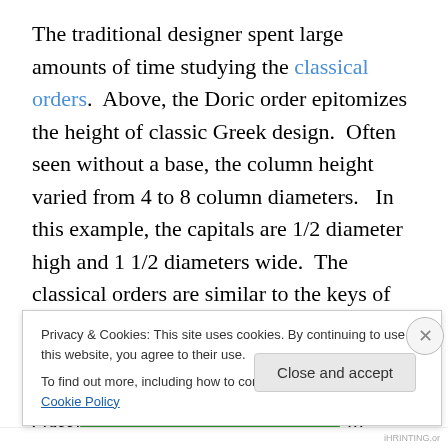The traditional designer spent large amounts of time studying the classical orders.  Above, the Doric order epitomizes the height of classic Greek design.  Often seen without a base, the column height varied from 4 to 8 column diameters.   In this example, the capitals are 1/2 diameter high and 1 1/2 diameters wide.  The classical orders are similar to the keys of classical music.  Each speaks a slightly different language, but each strives to harmonize its elements.  Studying the classical orders can go a long ways in teaching a designer which proportions
Privacy & Cookies: This site uses cookies. By continuing to use this website, you agree to their use.
To find out more, including how to control cookies, see here: Cookie Policy
Close and accept